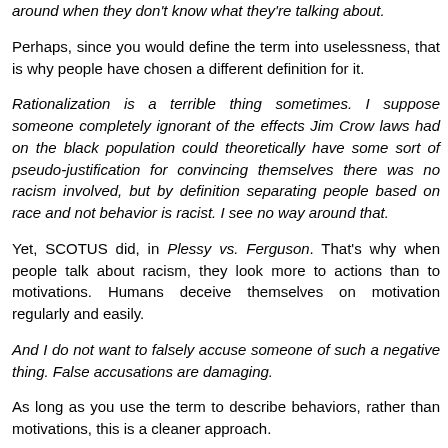around when they don't know what they're talking about.
Perhaps, since you would define the term into uselessness, that is why people have chosen a different definition for it.
Rationalization is a terrible thing sometimes. I suppose someone completely ignorant of the effects Jim Crow laws had on the black population could theoretically have some sort of pseudo-justification for convincing themselves there was no racism involved, but by definition separating people based on race and not behavior is racist. I see no way around that.
Yet, SCOTUS did, in Plessy vs. Ferguson. That's why when people talk about racism, they look more to actions than to motivations. Humans deceive themselves on motivation regularly and easily.
And I do not want to falsely accuse someone of such a negative thing. False accusations are damaging.
As long as you use the term to describe behaviors, rather than motivations, this is a cleaner approach.